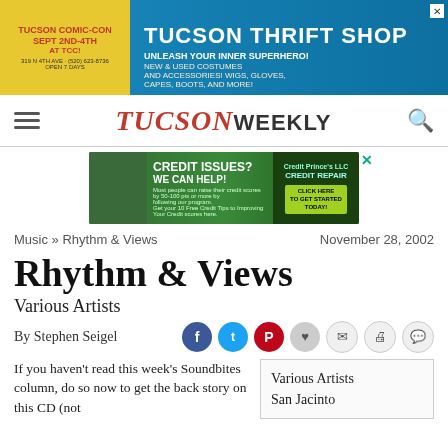[Figure (photo): Advertisement banner for Tucson Thrift Shop and Tucson Comic-Con, Sept 2nd-4th at TCC. Blue background with event details.]
TUCSON WEEKLY
[Figure (photo): Advertisement for Credit Issues? We Can Help! Credit Repair service with green background.]
Music » Rhythm & Views    November 28, 2002
Rhythm & Views
Various Artists
By Stephen Seigel
If you haven't read this week's Soundbites column, do so now to get the back story on this CD (not
Various Artists
San Jacinto